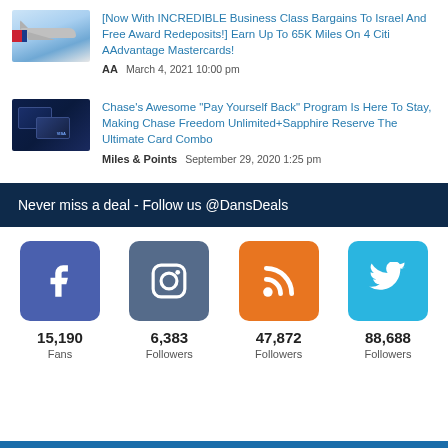[Figure (photo): American Airlines plane in blue sky]
[Now With INCREDIBLE Business Class Bargains To Israel And Free Award Redeposits!] Earn Up To 65K Miles On 4 Citi AAdvantage Mastercards!
AA  March 4, 2021 10:00 pm
[Figure (photo): Chase Freedom Unlimited and Sapphire Reserve credit cards on dark background]
Chase's Awesome "Pay Yourself Back" Program Is Here To Stay, Making Chase Freedom Unlimited+Sapphire Reserve The Ultimate Card Combo
Miles & Points  September 29, 2020 1:25 pm
Never miss a deal - Follow us @DansDeals
[Figure (infographic): Social media follow counts: Facebook 15,190 Fans, Instagram 6,383 Followers, RSS 47,872 Followers, Twitter 88,688 Followers]